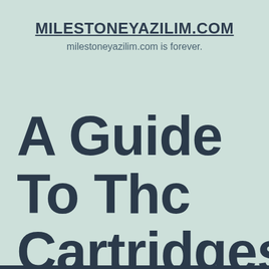MILESTONEYAZILIM.COM
milestoneyazilim.com is forever.
A Guide To Thc Cartridges